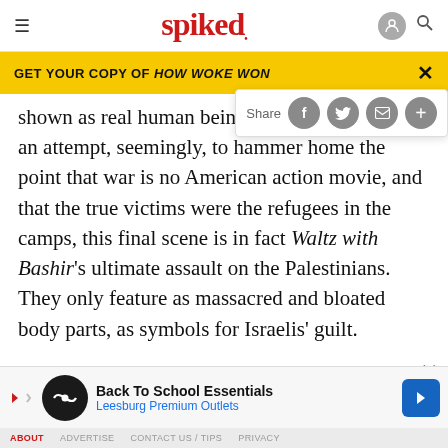spiked
GET YOUR COPY OF HOW WOKE WON
shown as real human beings, in an attempt, seemingly, to hammer home the point that war is no American action movie, and that the true victims were the refugees in the camps, this final scene is in fact Waltz with Bashir's ultimate assault on the Palestinians. They only feature as massacred and bloated body parts, as symbols for Israelis' guilt.
Back To School Essentials Leesburg Premium Outlets
ABOUT